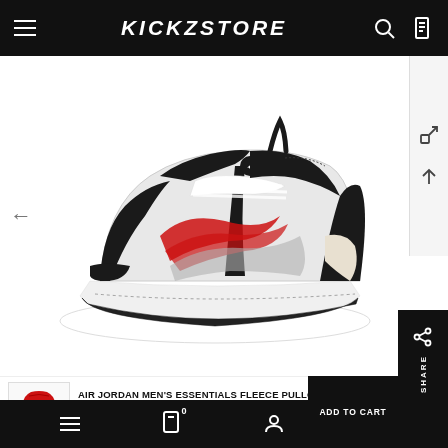KICKZSTORE
[Figure (photo): Air Jordan high-top basketball sneaker in white, black, red and grey colorway, side profile view on white background]
AIR JORDAN MEN'S ESSENTIALS FLEECE PULLOVER HOODIE GYM RED
$60.00 USD $50.00 USD
Menu | Bag | Account | Share